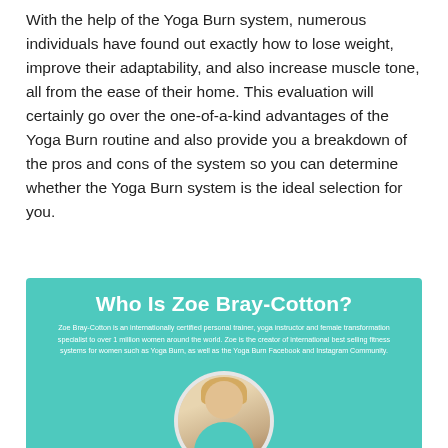With the help of the Yoga Burn system, numerous individuals have found out exactly how to lose weight, improve their adaptability, and also increase muscle tone, all from the ease of their home. This evaluation will certainly go over the one-of-a-kind advantages of the Yoga Burn routine and also provide you a breakdown of the pros and cons of the system so you can determine whether the Yoga Burn system is the ideal selection for you.
[Figure (infographic): Teal/turquoise banner box titled 'Who Is Zoe Bray-Cotton?' with white text body describing Zoe Bray-Cotton as an internationally certified personal trainer, yoga instructor and female transformation specialist to over 1 million women around the world, creator of international best selling fitness systems such as Yoga Burn and the Yoga Burn Facebook and Instagram Community. Below the text is a circular portrait photo of a blonde woman in a teal top.]